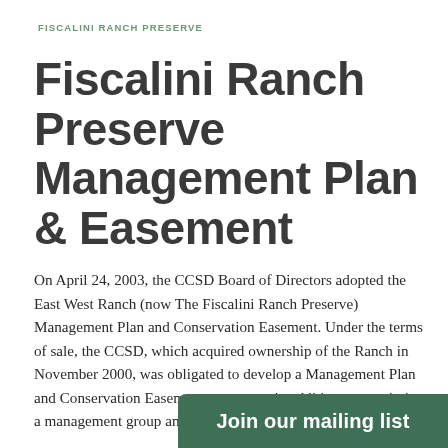FISCALINI RANCH PRESERVE
Fiscalini Ranch Preserve Management Plan & Easement
On April 24, 2003, the CCSD Board of Directors adopted the East West Ranch (now The Fiscalini Ranch Preserve) Management Plan and Conservation Easement. Under the terms of sale, the CCSD, which acquired ownership of the Ranch in November 2000, was obligated to develop a Management Plan and Conservation Easement agreement in addition to appointing a management group and conservation easement holder.
The North Coast Small W... (NCSWAR), which chango...
[Figure (other): Green call-to-action banner reading 'Join our mailing list']